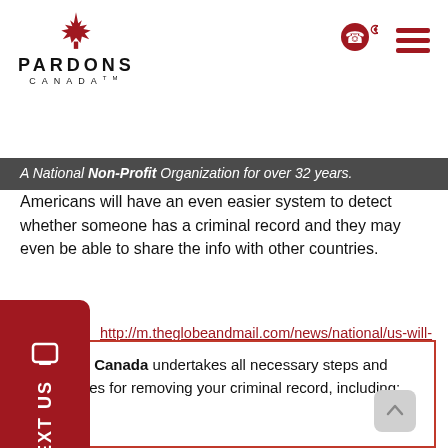[Figure (logo): Pardons Canada logo with maple leaf and text PARDONS CANADA]
[Figure (other): Phone and menu icons in top right]
A National Non-Profit Organization for over 32 years.
Americans will have an even easier system to detect whether someone has a criminal record and they may even be able to share the info with other countries.
http://m.theglobeandmail.com/news/national/us-will--allowed-to-share-canadian-border-info-under-new-vacy-charter/article4378569/?service=mobile
If you have any questions regarding this topic or about Pardons, Record Suspensions and US Entry Waivers email us at info@pardons.org or call 1-888-792-5538 or 647-699-6456.
Pardons Canada undertakes all necessary steps and procedures for removing your criminal record, including: